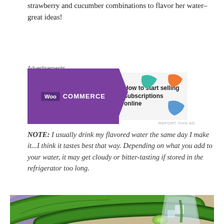strawberry and cucumber combinations to flavor her water–great ideas!
[Figure (screenshot): WooCommerce advertisement banner: 'How to start selling subscriptions online']
NOTE: I usually drink my flavored water the same day I make it...I think it tastes best that way. Depending on what you add to your water, it may get cloudy or bitter-tasting if stored in the refrigerator too long.
[Figure (photo): Photo of fresh cucumbers and a glass of water with ice and cucumber slices]